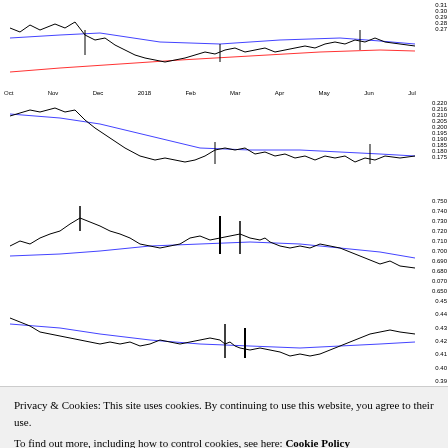[Figure (continuous-plot): Real Estate/SPY ratio chart with MA(50) 0.29 and MA(200) 0.23 lines, candlestick price data from Oct to Jul, y-axis range 0.27-0.31]
[Figure (continuous-plot): Utilities/SPY ratio chart with XLU/SPY 0.186 and MA(50) 0.194, candlestick data from Oct to Jul, y-axis range 0.175-0.220]
[Figure (continuous-plot): Transports/SPY ratio chart with IYT/SPY 0.663 and MA(50) 0.702, candlestick data, y-axis range 0.650-0.750]
[Figure (continuous-plot): Biotech/SPY ratio chart with IBB/SPY 0.42 and MA(50) 0.41, candlestick data, y-axis range 0.39-0.45]
Privacy & Cookies: This site uses cookies. By continuing to use this website, you agree to their use. To find out more, including how to control cookies, see here: Cookie Policy
Close and accept